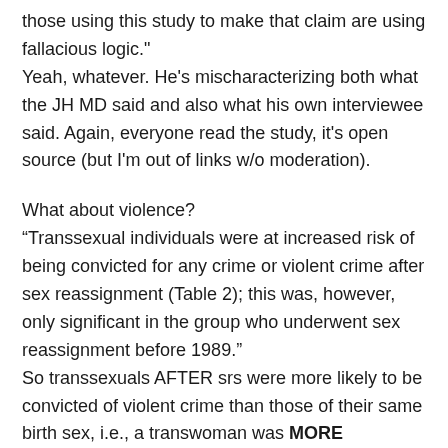those using this study to make that claim are using fallacious logic."
Yeah, whatever. He's mischaracterizing both what the JH MD said and also what his own interviewee said. Again, everyone read the study, it's open source (but I'm out of links w/o moderation).
What about violence?
“Transsexual individuals were at increased risk of being convicted for any crime or violent crime after sex reassignment (Table 2); this was, however, only significant in the group who underwent sex reassignment before 1989.”
So transsexuals AFTER srs were more likely to be convicted of violent crime than those of their same birth sex, i.e., a transwoman was MORE